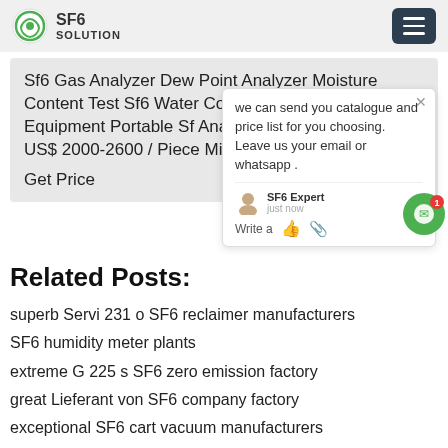SF6 SOLUTION
Sf6 Gas Analyzer Dew Point Analyzer Moisture Content Test Sf6 Water Content Measuring Equipment Portable Sf Analyzer FOB Price: US$ 2000-2600 / Piece Min. Order: 1 Piece Get Price
Related Posts:
superb Servi 231 o SF6 reclaimer manufacturers
SF6 humidity meter plants
extreme G 225 s SF6 zero emission factory
great Lieferant von SF6 company factory
exceptional SF6 cart vacuum manufacturers